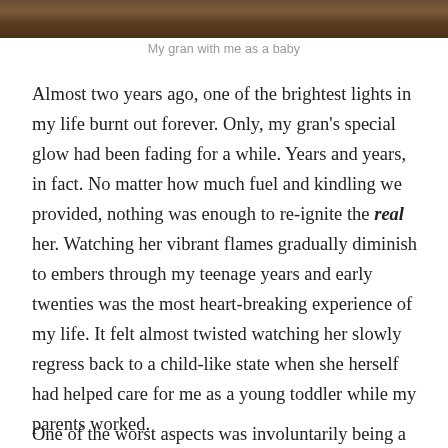[Figure (photo): A partial photograph showing an outdoor scene with earth/ground tones, cropped at the top of the page]
My gran with me as a baby
Almost two years ago, one of the brightest lights in my life burnt out forever. Only, my gran's special glow had been fading for a while. Years and years, in fact. No matter how much fuel and kindling we provided, nothing was enough to re-ignite the real her. Watching her vibrant flames gradually diminish to embers through my teenage years and early twenties was the most heart-breaking experience of my life. It felt almost twisted watching her slowly regress back to a child-like state when she herself had helped care for me as a young toddler while my parents worked.
One of the worst aspects was involuntarily being a